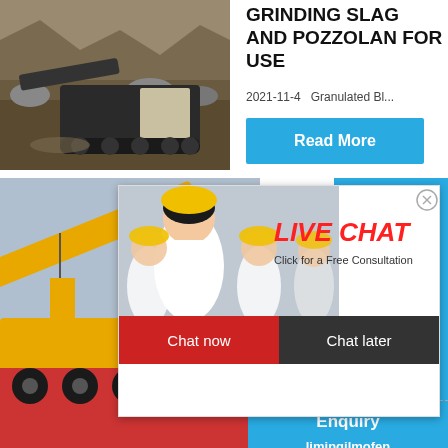[Figure (photo): Crusher machine working in a quarry with rocks and dirt]
GRINDING SLAG AND POZZOLAN FOR USE
2021-11-4   Granulated Bl...
Read More
[Figure (photo): Yellow crane truck on a red flatbed vehicle]
[Figure (screenshot): Live chat popup with workers in hard hats. Text: LIVE CHAT, Click for a Free Consultation, Chat now, Chat later]
[Figure (photo): Industrial machine / crusher on blue background panel, right side. Text: hour online, Click me to chat>>]
Ideal for
Read
Enquiry
limingjlmofen